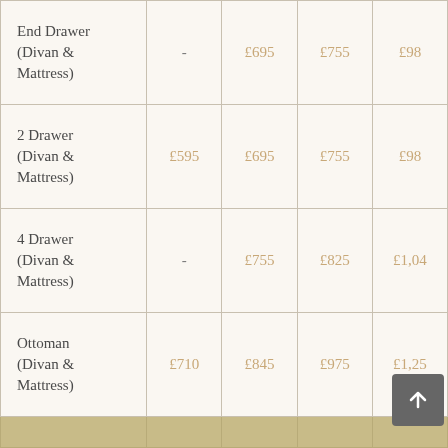| Type | Small | Medium | Large | XLarge |
| --- | --- | --- | --- | --- |
| End Drawer (Divan & Mattress) | - | £695 | £755 | £98... |
| 2 Drawer (Divan & Mattress) | £595 | £695 | £755 | £98... |
| 4 Drawer (Divan & Mattress) | - | £755 | £825 | £1,04... |
| Ottoman (Divan & Mattress) | £710 | £845 | £975 | £1,25... |